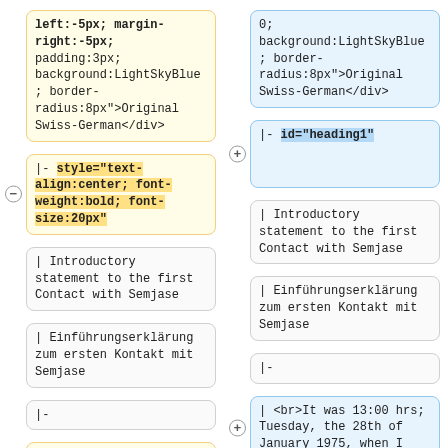left:-5px; margin-right:-5px; padding:3px; background:LightSkyBlue; border-radius:8px">Original Swiss-German</div>
0; background:LightSkyBlue; border-radius:8px">Original Swiss-German</div>
|- style="text-align:center; font-weight:bold; font-size:20px"
|- id="heading1"
| Introductory statement to the first Contact with Semjase
| Introductory statement to the first Contact with Semjase
| Einführungserklärung zum ersten Kontakt mit Semjase
| Einführungserklärung zum ersten Kontakt mit Semjase
|-
|-
| <br>It was 13:00 hrs; Tuesday, the 28th of January 1975, when I
| <br>It was 13:00 hrs; Tuesday, the 28th of January 1975, when I